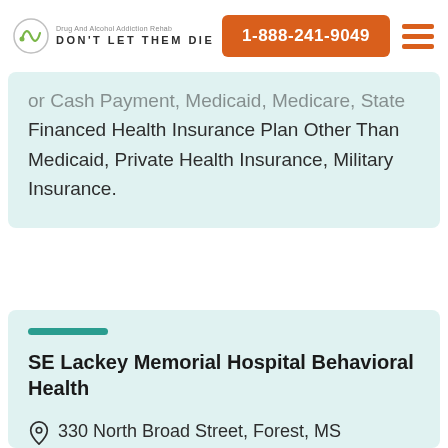DON'T LET THEM DIE | 1-888-241-9049
or Cash Payment, Medicaid, Medicare, State Financed Health Insurance Plan Other Than Medicaid, Private Health Insurance, Military Insurance.
SE Lackey Memorial Hospital Behavioral Health
330 North Broad Street, Forest, MS